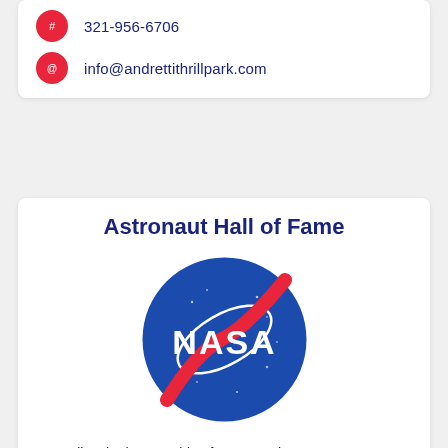321-956-6706
info@andrettithrillpark.com
Astronaut Hall of Fame
[Figure (logo): NASA logo — blue circle with white NASA text and red swoosh]
Come live the human side of space at the U.S. Astronaut Hall of Fame®, complete with the sights, sou ...
Learn more! →
6225 Vectorspace Blvd, Titusville, FL, 32780